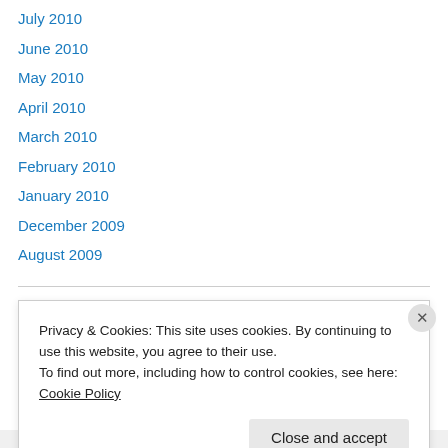July 2010
June 2010
May 2010
April 2010
March 2010
February 2010
January 2010
December 2009
August 2009
Privacy & Cookies: This site uses cookies. By continuing to use this website, you agree to their use. To find out more, including how to control cookies, see here: Cookie Policy
Close and accept